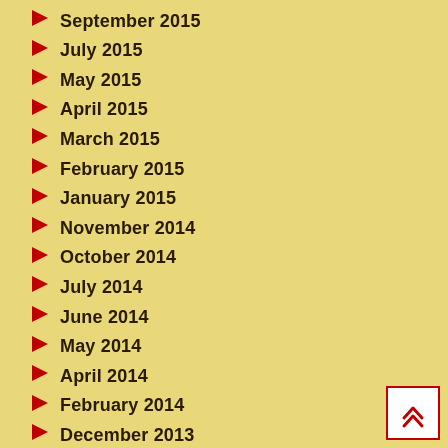September 2015
July 2015
May 2015
April 2015
March 2015
February 2015
January 2015
November 2014
October 2014
July 2014
June 2014
May 2014
April 2014
February 2014
December 2013
November 2013
October 2013
August 2013